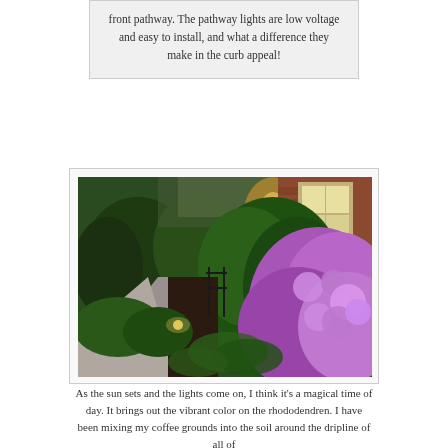front pathway. The pathway lights are low voltage and easy to install, and what a difference they make in the curb appeal!
[Figure (photo): Garden pathway with low-voltage lights, lush green shrubs and trees, a brick house visible in background, and vibrant purple rhododendron blooms in the foreground, photographed at dusk.]
As the sun sets and the lights come on, I think it's a magical time of day. It brings out the vibrant color on the rhododendren. I have been mixing my coffee grounds into the soil around the dripline of all of